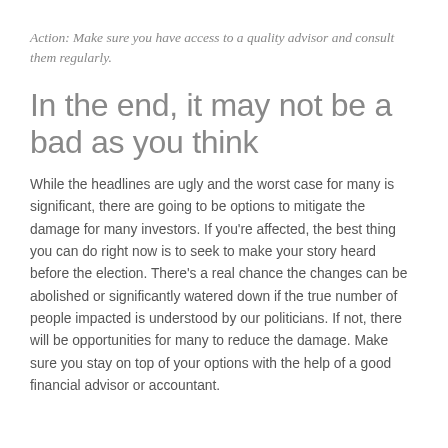Action: Make sure you have access to a quality advisor and consult them regularly.
In the end, it may not be a bad as you think
While the headlines are ugly and the worst case for many is significant, there are going to be options to mitigate the damage for many investors. If you're affected, the best thing you can do right now is to seek to make your story heard before the election. There's a real chance the changes can be abolished or significantly watered down if the true number of people impacted is understood by our politicians. If not, there will be opportunities for many to reduce the damage. Make sure you stay on top of your options with the help of a good financial advisor or accountant.